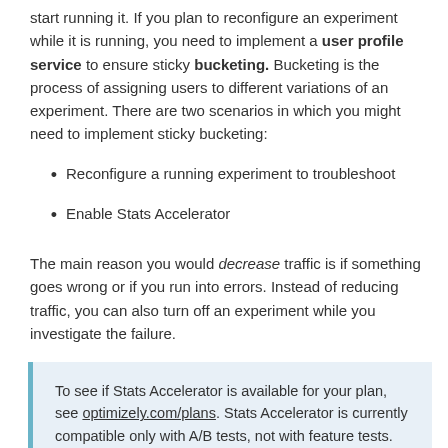start running it. If you plan to reconfigure an experiment while it is running, you need to implement a user profile service to ensure sticky bucketing. Bucketing is the process of assigning users to different variations of an experiment. There are two scenarios in which you might need to implement sticky bucketing:
Reconfigure a running experiment to troubleshoot
Enable Stats Accelerator
The main reason you would decrease traffic is if something goes wrong or if you run into errors. Instead of reducing traffic, you can also turn off an experiment while you investigate the failure.
To see if Stats Accelerator is available for your plan, see optimizely.com/plans. Stats Accelerator is currently compatible only with A/B tests, not with feature tests.